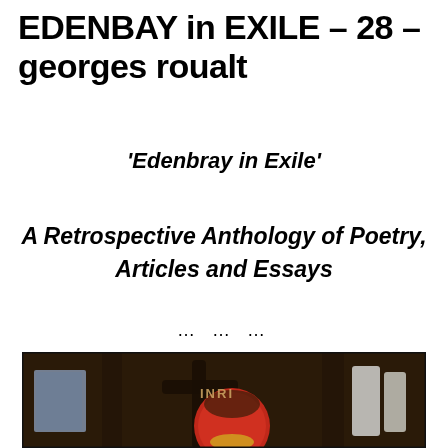EDENBAY in EXILE – 28 – georges roualt
'Edenbray in Exile'
A Retrospective Anthology of Poetry, Articles and Essays
… … …
[Figure (illustration): A painting or print artwork featuring abstract expressionist imagery: dark background with a large red circular form, yellow accent, white brushstrokes, and text 'INRI' lettered above — reminiscent of Georges Rouault's religious painting style.]